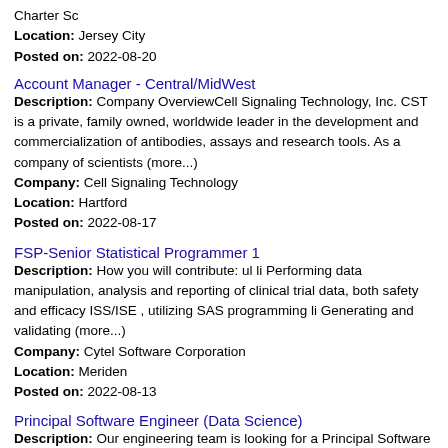Charter Sc
Location: Jersey City
Posted on: 2022-08-20
Account Manager - Central/MidWest
Description: Company OverviewCell Signaling Technology, Inc. CST is a private, family owned, worldwide leader in the development and commercialization of antibodies, assays and research tools. As a company of scientists (more...)
Company: Cell Signaling Technology
Location: Hartford
Posted on: 2022-08-17
FSP-Senior Statistical Programmer 1
Description: How you will contribute: ul li Performing data manipulation, analysis and reporting of clinical trial data, both safety and efficacy ISS/ISE , utilizing SAS programming li Generating and validating (more...)
Company: Cytel Software Corporation
Location: Meriden
Posted on: 2022-08-13
Principal Software Engineer (Data Science)
Description: Our engineering team is looking for a Principal Software Engineer Data Science who wants to bring our platform to the next level, expanding into new markets by incorporating advanced data science and (more...)
Company: Yoh